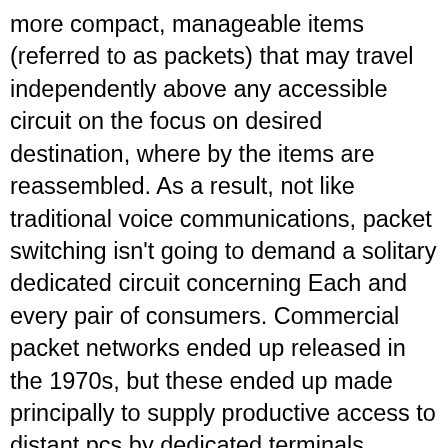more compact, manageable items (referred to as packets) that may travel independently above any accessible circuit on the focus on desired destination, where by the items are reassembled. As a result, not like traditional voice communications, packet switching isn't going to demand a solitary dedicated circuit concerning Each and every pair of consumers. Commercial packet networks ended up released in the 1970s, but these ended up made principally to supply productive access to distant pcs by dedicated terminals. Briefly, they changed extended-length modem connections by fewer-pricey “virtual” circuits above packet networks. In The us, Telenet and Tymnet ended up two this sort of packet networks. Neither supported host-to-host communications; in the 1970s this was nonetheless the province of your analysis networks, and it would continue being so for many years. DARPA (Protection Innovative Analysis Projects